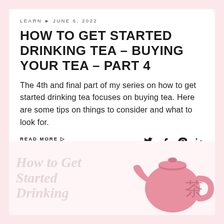LEARN ▶ JUNE 6, 2022
HOW TO GET STARTED DRINKING TEA – BUYING YOUR TEA – PART 4
The 4th and final part of my series on how to get started drinking tea focuses on buying tea. Here are some tips on things to consider and what to look for.
READ MORE ▷
[Figure (illustration): Decorative bottom card showing italic overlay text 'How to Get Started Drinking' in light pink and a pink teapot illustration with a Chinese character for tea (茶)]